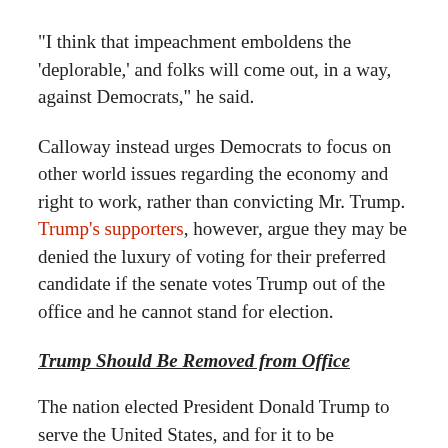“I think that impeachment emboldens the ‘deplorable,’ and folks will come out, in a way, against Democrats,” he said.
Calloway instead urges Democrats to focus on other world issues regarding the economy and right to work, rather than convicting Mr. Trump. Trump’s supporters, however, argue they may be denied the luxury of voting for their preferred candidate if the senate votes Trump out of the office and he cannot stand for election.
Trump Should Be Removed from Office
The nation elected President Donald Trump to serve the United States, and for it to be recommended that we vote to remove him from office is a harsh and significant event.